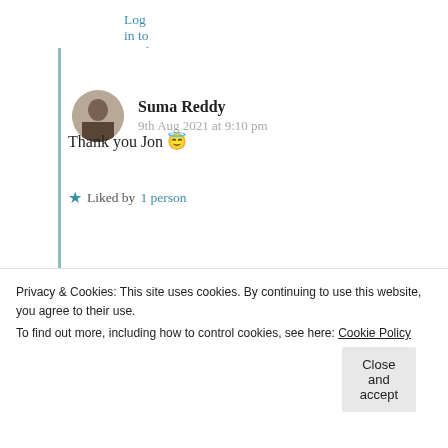Log in to Reply
Suma Reddy
9th Aug 2021 at 9:10 pm
Thank you Jon 😇
★ Liked by 1 person
Log in to Reply
Privacy & Cookies: This site uses cookies. By continuing to use this website, you agree to their use.
To find out more, including how to control cookies, see here: Cookie Policy
Close and accept